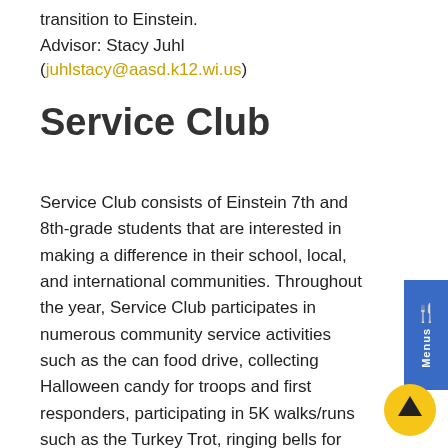transition to Einstein.
Advisor: Stacy Juhl (juhlstacy@aasd.k12.wi.us)
Service Club
Service Club consists of Einstein 7th and 8th-grade students that are interested in making a difference in their school, local, and international communities. Throughout the year, Service Club participates in numerous community service activities such as the can food drive, collecting Halloween candy for troops and first responders, participating in 5K walks/runs such as the Turkey Trot, ringing bells for Salvation Army, welcoming home Old Glory Honor Flights at the airport, serving meals at Culver's for the Wisconsin-Nicaragua Partners of America, selling roses for Mother's Day, carnations